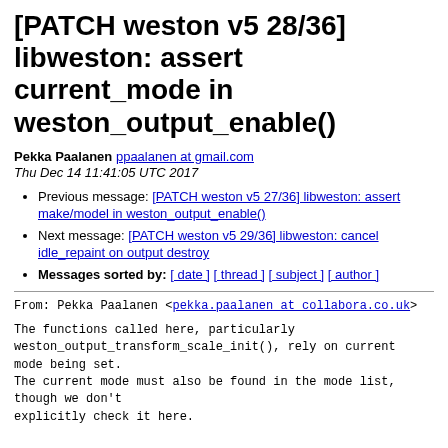[PATCH weston v5 28/36] libweston: assert current_mode in weston_output_enable()
Pekka Paalanen ppaalanen at gmail.com
Thu Dec 14 11:41:05 UTC 2017
Previous message: [PATCH weston v5 27/36] libweston: assert make/model in weston_output_enable()
Next message: [PATCH weston v5 29/36] libweston: cancel idle_repaint on output destroy
Messages sorted by: [ date ] [ thread ] [ subject ] [ author ]
From: Pekka Paalanen <pekka.paalanen at collabora.co.uk>

The functions called here, particularly
weston_output_transform_scale_init(), rely on current
mode being set.
The current mode must also be found in the mode list,
though we don't
explicitly check it here.